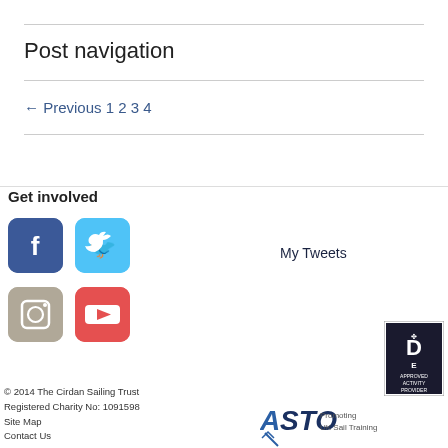Post navigation
← Previous 1 2 3 4
Get involved
[Figure (infographic): Four social media icon buttons: Facebook (blue), Twitter (light blue), Instagram (grey/beige), YouTube (red-orange), each with rounded rectangle shape and white icon]
My Tweets
© 2014 The Cirdan Sailing Trust
Registered Charity No: 1091598
Site Map
Contact Us
[Figure (logo): Duke of Edinburgh D of E Approved Activity Provider badge/logo]
[Figure (logo): ASTO – Promoting UK Sail Training logo]